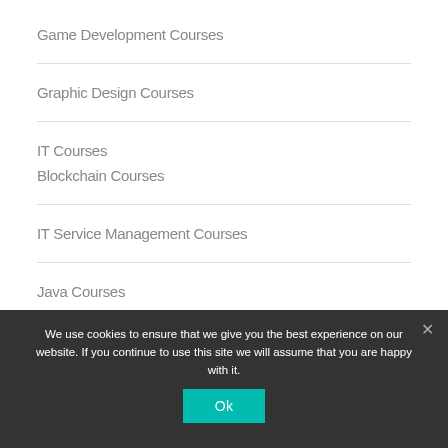Game Development Courses
Graphic Design Courses
IT Courses
Blockchain Courses
IT Service Management Courses
Java Courses
Javascript Courses
Linux
We use cookies to ensure that we give you the best experience on our website. If you continue to use this site we will assume that you are happy with it.
Ok